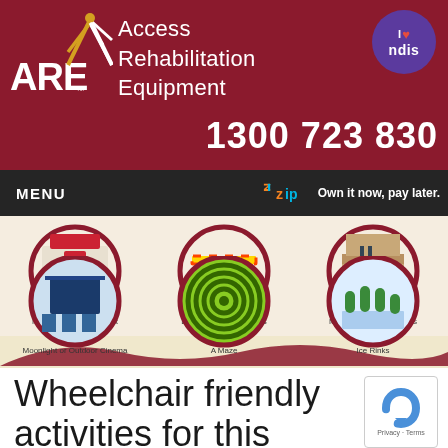[Figure (logo): Access Rehabilitation Equipment (ARE) logo with stylized person figure in red/gold/white on dark red background, with NDIS badge top right]
Access Rehabilitation Equipment
1300 723 830
MENU   zip Own it now, pay later.
[Figure (illustration): Six circular illustrated icons showing wheelchair-friendly activities: New Café or Restaurant, Local Weekend Markets, Museums & Art Galleries, Moonlight or Outdoor Cinema, A Maze, Ice Rinks]
Wheelchair friendly activities for this